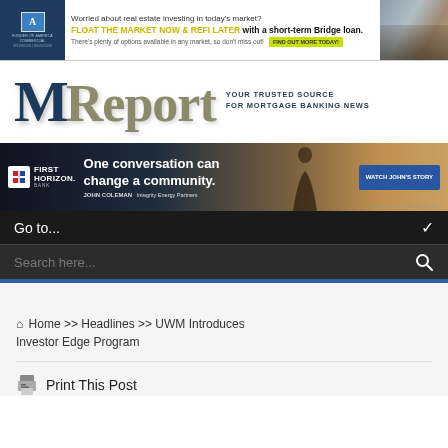[Figure (other): Top banner advertisement for Funder of America Commercial: 'Worried about real estate investing in today's market? FLOAT THE MARKET NOW & REFI LATER with a short-term Bridge loan. There's plenty of options available in any market, so don't miss out! FIND OUT MORE TODAY!']
[Figure (logo): MReport logo - large 'M' in dark navy blue and 'Report' in khaki/tan serif font, tagline: YOUR TRUSTED SOURCE FOR MORTGAGE BANKING NEWS]
[Figure (other): First Horizon Bank advertisement: 'One conversation can change a community.' JOHN COLEMAN - Integrity Energy Partners. WATCH JOHN'S STORY button. Silhouette of person against sunset background.]
Go to...
Search here...
Home >> Headlines >> UWM Introduces Investor Edge Program
Print This Post